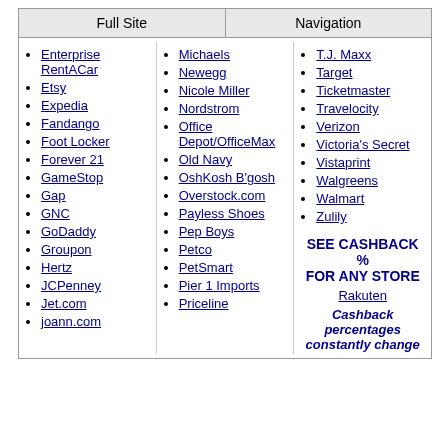Full Site | Navigation
Enterprise RentACar
Etsy
Expedia
Fandango
Foot Locker
Forever 21
GameStop
Gap
GNC
GoDaddy
Groupon
Hertz
JCPenney
Jet.com
joann.com
Michaels
Newegg
Nicole Miller
Nordstrom
Office Depot/OfficeMax
Old Navy
OshKosh B'gosh
Overstock.com
Payless Shoes
Pep Boys
Petco
PetSmart
Pier 1 Imports
Priceline
T.J. Maxx
Target
Ticketmaster
Travelocity
Verizon
Victoria's Secret
Vistaprint
Walgreens
Walmart
Zulily
SEE CASHBACK % FOR ANY STORE
Rakuten
Cashback percentages constantly change